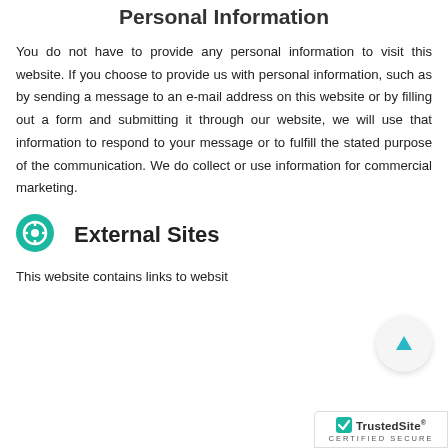Personal Information
You do not have to provide any personal information to visit this website. If you choose to provide us with personal information, such as by sending a message to an e-mail address on this website or by filling out a form and submitting it through our website, we will use that information to respond to your message or to fulfill the stated purpose of the communication. We do collect or use information for commercial marketing.
External Sites
This website contains links to websit